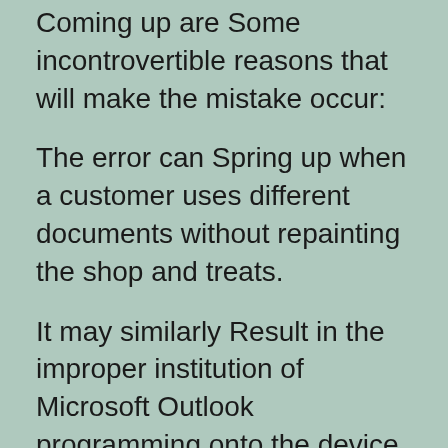Coming up are Some incontrovertible reasons that will make the mistake occur:
The error can Spring up when a customer uses different documents without repainting the shop and treats.
It may similarly Result in the improper institution of Microsoft Outlook programming onto the device.
The error comes Up on Outlook; once opened may be due to non-updation of the latest form.
Now and the Error may be unidentifiable from the customer. The right...